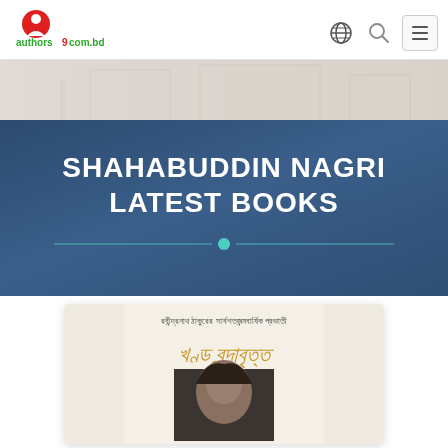[Figure (logo): authors9com.bd logo — red stylized figure icon with green and red text]
[Figure (screenshot): Website header navigation bar with globe icon, search icon, and hamburger menu icon]
[Figure (photo): Faded banner image with building architectural background]
SHAHABUDDIN NAGRI LATEST BOOKS
[Figure (illustration): Teal decorative horizontal divider with circle center dot]
[Figure (photo): Book cover showing Bengali script text and portrait photo of Rabindranath Tagore]